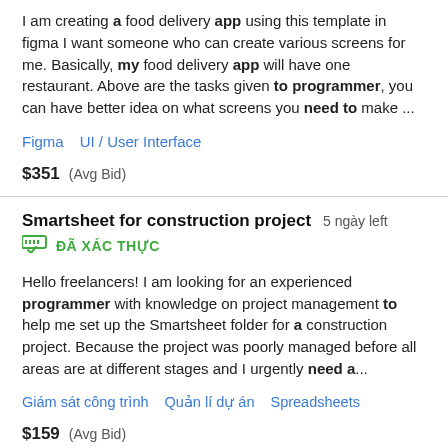I am creating a food delivery app using this template in figma I want someone who can create various screens for me. Basically, my food delivery app will have one restaurant. Above are the tasks given to programmer, you can have better idea on what screens you need to make ...
Figma   UI / User Interface
$351  (Avg Bid)
Smartsheet for construction project  5 ngày left
ĐÃ XÁC THỰC
Hello freelancers! I am looking for an experienced programmer with knowledge on project management to help me set up the Smartsheet folder for a construction project. Because the project was poorly managed before all areas are at different stages and I urgently need a...
Giám sát công trình   Quản lí dự án   Spreadsheets
$159  (Avg Bid)